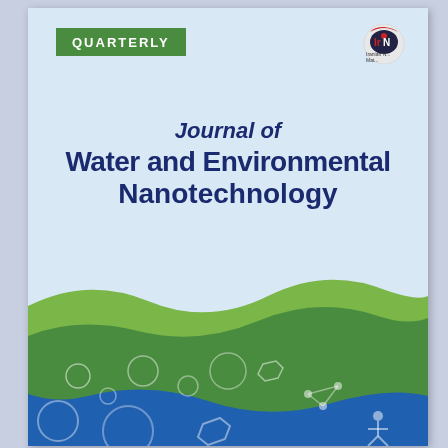[Figure (logo): Iranian Nanotechnology Initiative logo in top right corner, circular red and dark design with text 'Iranian ... Mat...']
QUARTERLY
Journal of Water and Environmental Nanotechnology
[Figure (illustration): Decorative wavy banner with green ribbon waves over a blue water background featuring bubbles and molecular/nanotechnology imagery in the lower half of the cover]